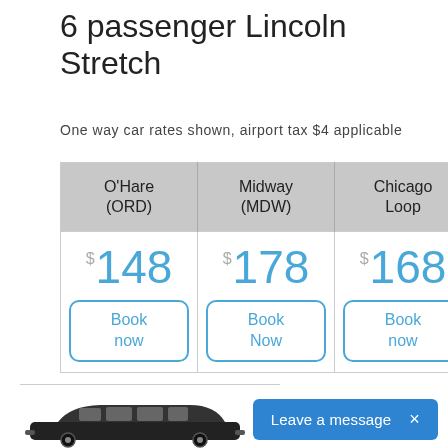6 passenger Lincoln Stretch
One way car rates shown, airport tax $4 applicable
| O'Hare (ORD) | Midway (MDW) | Chicago Loop |
| --- | --- | --- |
| $148 / Book now | $178 / Book Now | $168 / Book now |
[Figure (photo): Black Lincoln stretch limousine car silhouette]
Leave a message  ×